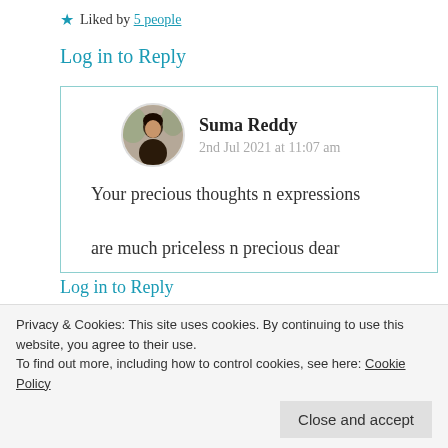Liked by 5 people
Log in to Reply
[Figure (photo): Avatar photo of Suma Reddy, a circular profile picture]
Suma Reddy
2nd Jul 2021 at 11:07 am
Your precious thoughts n expressions are much priceless n precious dear
Privacy & Cookies: This site uses cookies. By continuing to use this website, you agree to their use. To find out more, including how to control cookies, see here: Cookie Policy
Close and accept
Log in to Reply